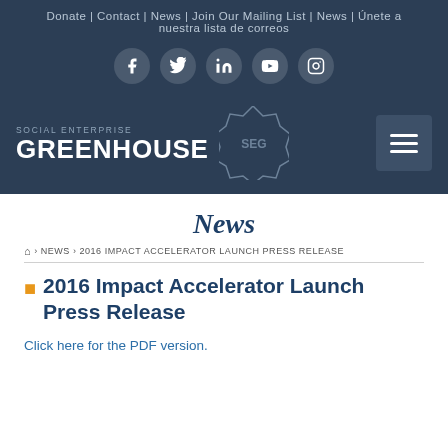Donate | Contact | News | Join Our Mailing List | News | Únete a nuestra lista de correos
[Figure (illustration): Social media icon circles: Facebook, Twitter, LinkedIn, YouTube, Instagram on dark navy background]
[Figure (logo): Social Enterprise Greenhouse logo with badge/seal icon and hamburger menu button]
News
Home > NEWS > 2016 IMPACT ACCELERATOR LAUNCH PRESS RELEASE
2016 Impact Accelerator Launch Press Release
Click here for the PDF version.